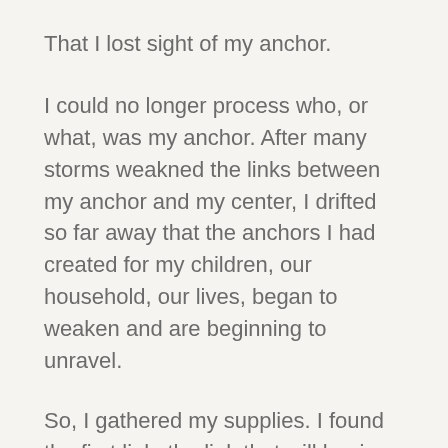That I lost sight of my anchor.
I could no longer process who, or what, was my anchor. After many storms weakned the links between my anchor and my center, I drifted so far away that the anchors I had created for my children, our household, our lives, began to weaken and are beginning to unravel.
So, I gathered my supplies. I found the first link, the link that will begin the new chain that will reconnect me to my anchor.
And that link....involves remembering to take time for myself. 15 minutes. A day. Relaxing in a longer shower. Taking the scenic route home. Reading a